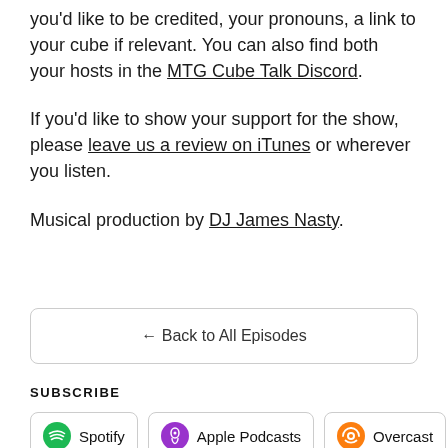you'd like to be credited, your pronouns, a link to your cube if relevant. You can also find both your hosts in the MTG Cube Talk Discord.
If you'd like to show your support for the show, please leave us a review on iTunes or wherever you listen.
Musical production by DJ James Nasty.
← Back to All Episodes
SUBSCRIBE
Spotify
Apple Podcasts
Overcast